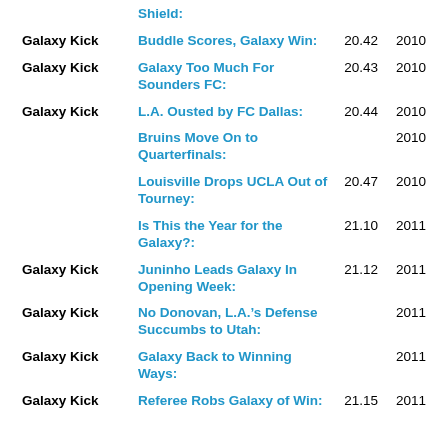| Source | Title | Vol | Year |
| --- | --- | --- | --- |
|  | Shield: |  |  |
| Galaxy Kick | Buddle Scores, Galaxy Win: | 20.42 | 2010 |
| Galaxy Kick | Galaxy Too Much For Sounders FC: | 20.43 | 2010 |
| Galaxy Kick | L.A. Ousted by FC Dallas: | 20.44 | 2010 |
|  | Bruins Move On to Quarterfinals: |  | 2010 |
|  | Louisville Drops UCLA Out of Tourney: | 20.47 | 2010 |
|  | Is This the Year for the Galaxy?: | 21.10 | 2011 |
| Galaxy Kick | Juninho Leads Galaxy In Opening Week: | 21.12 | 2011 |
| Galaxy Kick | No Donovan, L.A.’s Defense Succumbs to Utah: |  | 2011 |
| Galaxy Kick | Galaxy Back to Winning Ways: |  | 2011 |
| Galaxy Kick | Referee Robs Galaxy of Win: | 21.15 | 2011 |